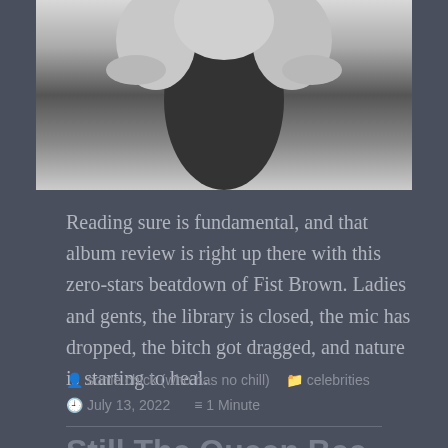[Figure (photo): Black and white photograph of a person with hands raised near face, partially cropped at top]
Reading sure is fundamental, and that album review is right up there with this zero-stars beatdown of Fist Brown. Ladies and gents, the library is closed, the mic has dropped, the bitch got dragged, and nature is starting to heal.
some chick (who has no chill)   celebrities
July 13, 2022   1 Minute
Still The Queen Bee